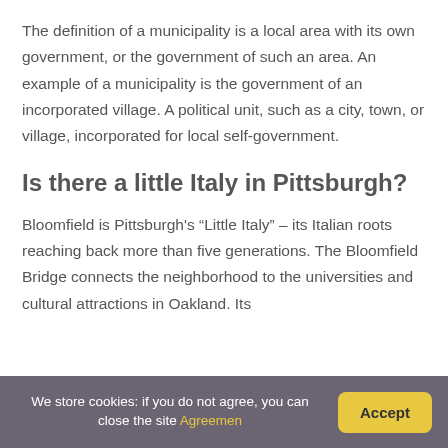The definition of a municipality is a local area with its own government, or the government of such an area. An example of a municipality is the government of an incorporated village. A political unit, such as a city, town, or village, incorporated for local self-government.
Is there a little Italy in Pittsburgh?
Bloomfield is Pittsburgh's “Little Italy” – its Italian roots reaching back more than five generations. The Bloomfield Bridge connects the neighborhood to the universities and cultural attractions in Oakland. Its
We store cookies: if you do not agree, you can close the site Agreemen